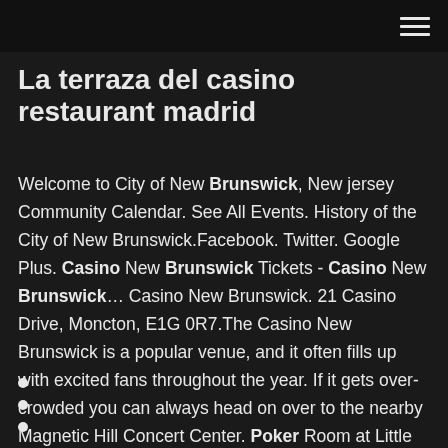[hamburger menu icon]
La terraza del casino restaurant madrid
Welcome to City of New Brunswick, New jersey Community Calendar. See All Events. History of the City of New Brunswick.Facebook. Twitter. Google Plus. Casino New Brunswick Tickets - Casino New Brunswick... Casino New Brunswick. 21 Casino Drive, Moncton, E1G 0R7.The Casino New Brunswick is a popular venue, and it often fills up with excited fans throughout the year. If it gets over-crowded you can always head on over to the nearby Magnetic Hill Concert Center. Poker Room at Little Creek Casino